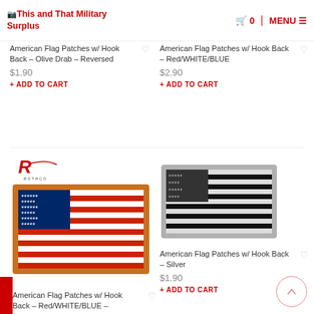This and That Military Surplus
American Flag Patches w/ Hook Back – Olive Drab – Reversed
$1.90
+ ADD TO CART
American Flag Patches w/ Hook Back – Red/WHITE/BLUE
$2.90
+ ADD TO CART
[Figure (photo): Rothco logo above a large American flag patch with gold/orange border]
[Figure (photo): Silver/black American flag patch with grey border]
American Flag Patches w/ Hook Back – Silver
$1.90
+ ADD TO CART
American Flag Patches w/ Hook Back – Red/WHITE/BLUE –